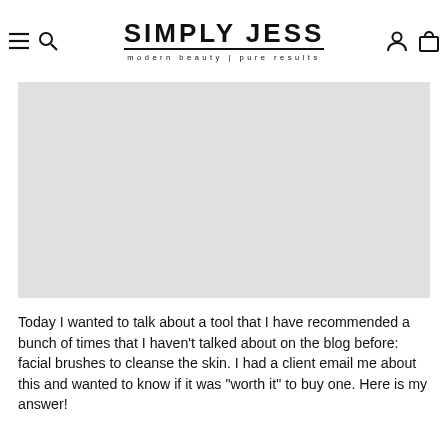SIMPLY JESS — modern beauty | pure results
[Figure (photo): Large light gray rectangular image placeholder occupying the upper portion of the blog post page]
Today I wanted to talk about a tool that I have recommended a bunch of times that I haven't talked about on the blog before: facial brushes to cleanse the skin. I had a client email me about this and wanted to know if it was "worth it" to buy one. Here is my answer!